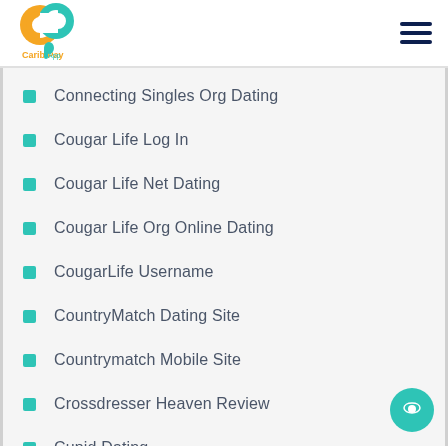Carib Pay App
Connecting Singles Org Dating
Cougar Life Log In
Cougar Life Net Dating
Cougar Life Org Online Dating
CougarLife Username
CountryMatch Dating Site
Countrymatch Mobile Site
Crossdresser Heaven Review
Cupid Dating
Cupid Dating Site
Cupid Reviews How To Delete Account